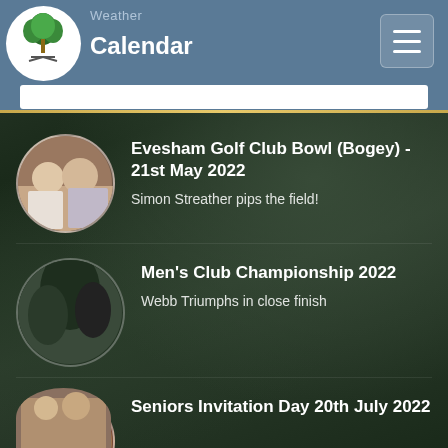Calendar
Evesham Golf Club Bowl (Bogey) - 21st May 2022
Simon Streather pips the field!
Men's Club Championship 2022
Webb Triumphs in close finish
Seniors Invitation Day 20th July 2022